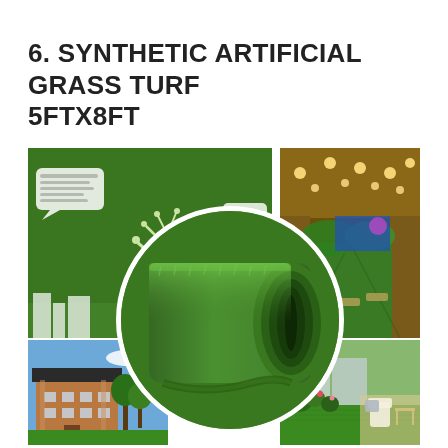6. SYNTHETIC ARTIFICIAL GRASS TURF 5FTX8FT
[Figure (photo): Product image collage showing synthetic artificial grass turf 5ftx8ft. Four background photos: top-left shows a green wall with white paper-cut decorations (trees, bicycle, lamp post, speech bubbles with text), top-right shows a banquet/event hall with green grass pathway and decorative green hills, bottom-left shows a building exterior with artificial grass on the grounds under a blue sky, bottom-right shows a patio/garden area with white outdoor furniture and green lawn. In the center, overlaid in a circular frame with white border, is a rolled-up roll of green synthetic turf grass showing the texture and curl of the artificial grass mat.]